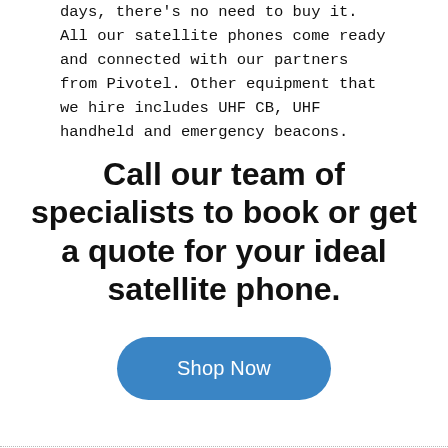days, there's no need to buy it. All our satellite phones come ready and connected with our partners from Pivotel. Other equipment that we hire includes UHF CB, UHF handheld and emergency beacons.
Call our team of specialists to book or get a quote for your ideal satellite phone.
Shop Now